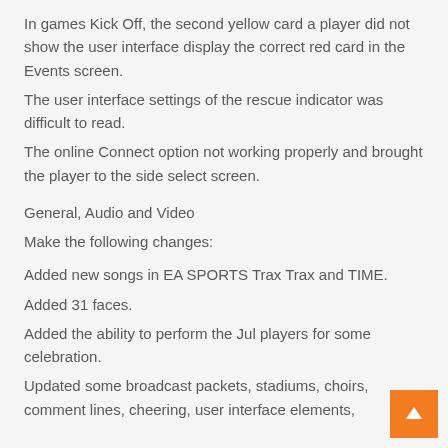In games Kick Off, the second yellow card a player did not show the user interface display the correct red card in the Events screen.
The user interface settings of the rescue indicator was difficult to read.
The online Connect option not working properly and brought the player to the side select screen.
General, Audio and Video
Make the following changes:
Added new songs in EA SPORTS Trax Trax and TIME.
Added 31 faces.
Added the ability to perform the Jul players for some celebration.
Updated some broadcast packets, stadiums, choirs, comment lines, cheering, user interface elements,